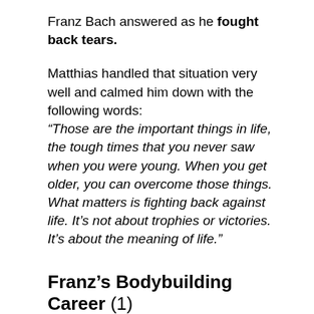Franz Bach answered as he fought back tears.
Matthias handled that situation very well and calmed him down with the following words: “Those are the important things in life, the tough times that you never saw when you were young. When you get older, you can overcome those things. What matters is fighting back against life. It’s not about trophies or victories. It’s about the meaning of life.”
Franz’s Bodybuilding Career (1)